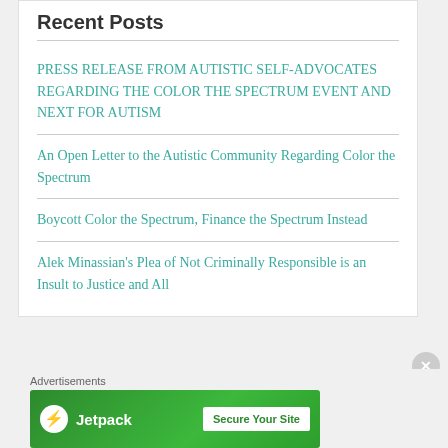Recent Posts
PRESS RELEASE FROM AUTISTIC SELF-ADVOCATES REGARDING THE COLOR THE SPECTRUM EVENT AND NEXT FOR AUTISM
An Open Letter to the Autistic Community Regarding Color the Spectrum
Boycott Color the Spectrum, Finance the Spectrum Instead
Alek Minassian's Plea of Not Criminally Responsible is an Insult to Justice and All
Advertisements
[Figure (screenshot): Jetpack advertisement banner with green background showing Jetpack logo and 'Secure Your Site' button]